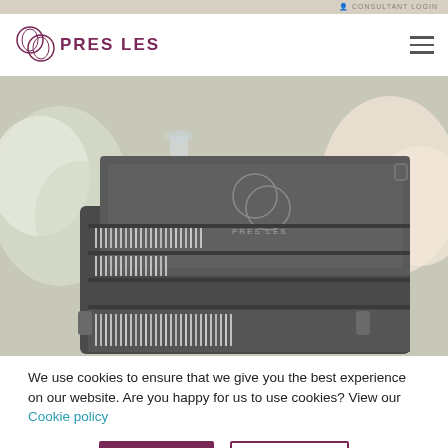CONSULTANT LOGIN
[Figure (logo): Pres Les logo with stylized P monogram and brand name PRES LES]
[Figure (photo): An open dark grey cutlery case filled with silverware/flatware, displayed on a table with white floral arrangements and glassware in the background. The Pres Les logo is embossed on the inside lid of the case.]
We use cookies to ensure that we give you the best experience on our website. Are you happy for us to use cookies? View our Cookie policy
Accept
Decline